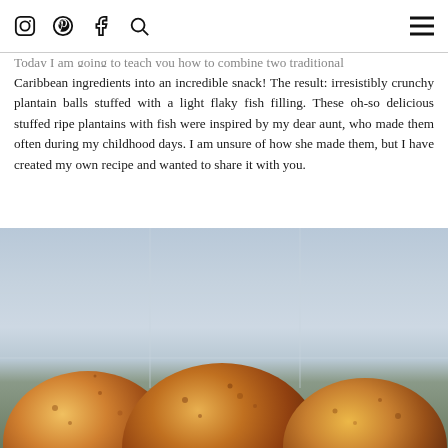[Social media icons: Instagram, Pinterest, Facebook, Search] [Hamburger menu]
Today I am going to teach you how to combine two traditional Caribbean ingredients into an incredible snack! The result: irresistibly crunchy plantain balls stuffed with a light flaky fish filling. These oh-so delicious stuffed ripe plantains with fish were inspired by my dear aunt, who made them often during my childhood days. I am unsure of how she made them, but I have created my own recipe and wanted to share it with you.
[Figure (photo): Close-up photo of golden-brown fried plantain balls (stuffed ripe plantains with fish filling) on a light background. Three large round fried balls are visible in the foreground with a slightly blurred light blue/gray tiled background.]